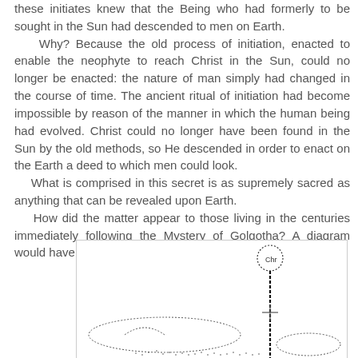these initiates knew that the Being who had formerly to be sought in the Sun had descended to men on Earth.
    Why? Because the old process of initiation, enacted to enable the neophyte to reach Christ in the Sun, could no longer be enacted: the nature of man simply had changed in the course of time. The ancient ritual of initiation had become impossible by reason of the manner in which the human being had evolved. Christ could no longer have been found in the Sun by the old methods, so He descended in order to enact on the Earth a deed to which men could look.
    What is comprised in this secret is as supremely sacred as anything that can be revealed upon Earth.
    How did the matter appear to those living in the centuries immediately following the Mystery of Golgotha? A diagram would have to be drawn somewhat like this:
[Figure (illustration): A hand-drawn or dotted-line diagram showing spiritual/cosmological figures. A vertical dashed/dotted line descends from a circular shape at the top (labeled or symbolizing Christ/Sun), with cross-like forms and curved dotted oval shapes at the bottom suggesting Earth or human figures.]